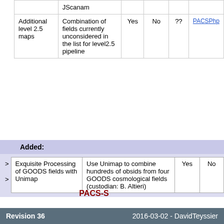|  | JScanam |  |  |  |  |
| --- | --- | --- | --- | --- | --- |
| Additional level 2.5 maps | Combination of fields currently unconsidered in the list for level2.5 pipeline | Yes | No | ?? | PACSPhp... |
Added:
| Exquisite Processing of GOODS fields with Unimap | Use Unimap to combine hundreds of obsids from four GOODS cosmological fields (custodian: B. Altieri) | Yes | No |
| --- | --- | --- | --- |
PACS-S
Revision 36    2016-03-02 - DavidTeyssier